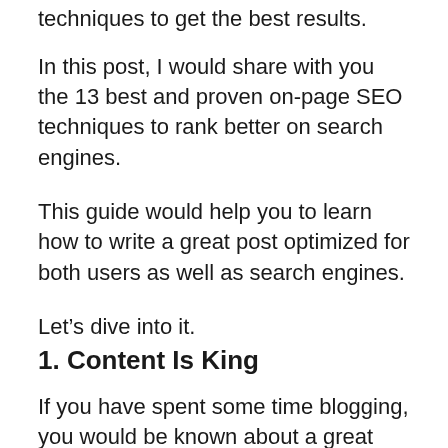techniques to get the best results.
In this post, I would share with you the 13 best and proven on-page SEO techniques to rank better on search engines.
This guide would help you to learn how to write a great post optimized for both users as well as search engines.
Let’s dive into it.
1. Content Is King
If you have spent some time blogging, you would be known about a great marketing quote “Content Is King”.